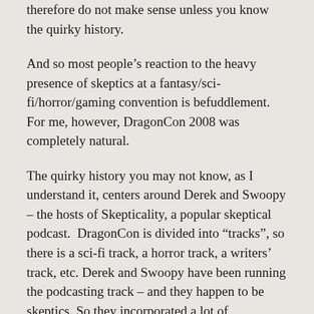therefore do not make sense unless you know the quirky history.
And so most people's reaction to the heavy presence of skeptics at a fantasy/sci-fi/horror/gaming convention is befuddlement.  For me, however, DragonCon 2008 was completely natural.
The quirky history you may not know, as I understand it, centers around Derek and Swoopy – the hosts of Skepticality, a popular skeptical podcast.  DragonCon is divided into “tracks”, so there is a sci-fi track, a horror track, a writers’ track, etc. Derek and Swoopy have been running the podcasting track – and they happen to be skeptics. So they incorporated a lot of skepticism into their track. This year the skeptical presence increased to the point where they got their own track – so now there is a skeptics track at DragonCon. The skeptical presence increased to the point